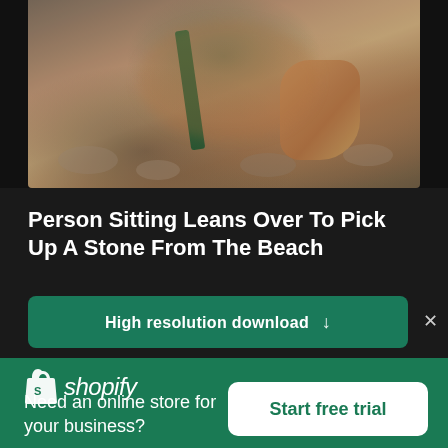[Figure (photo): Blurred photo of a person sitting and leaning over to pick up a stone from the beach, with a green stick/handle visible]
Person Sitting Leans Over To Pick Up A Stone From The Beach
High resolution download ↓
[Figure (logo): Shopify logo - shopping bag icon with S and text 'shopify']
Need an online store for your business?
Start free trial